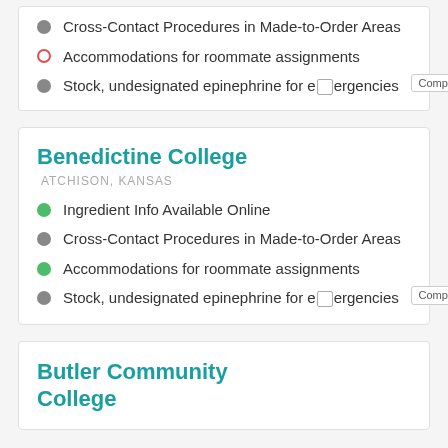Cross-Contact Procedures in Made-to-Order Areas
Accommodations for roommate assignments
Stock, undesignated epinephrine for emergencies
Benedictine College
ATCHISON, KANSAS
Ingredient Info Available Online
Cross-Contact Procedures in Made-to-Order Areas
Accommodations for roommate assignments
Stock, undesignated epinephrine for emergencies
Butler Community College